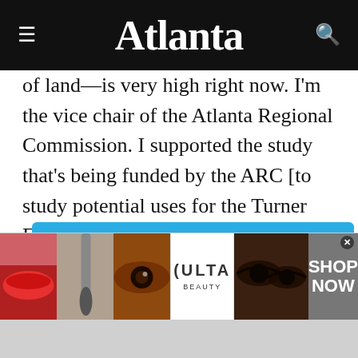Atlanta
of land—is very high right now. I'm the vice chair of the Atlanta Regional Commission. I supported the study that's being funded by the ARC [to study potential uses for the Turner Field property]. I'm excited about it. And I think we're going to do
[Figure (screenshot): Newsletter popup overlay with Atlanta skyline image and text: Join our daily newsletter list! Start your morning with us. The Daily Brief delivers]
[Figure (photo): Ulta Beauty advertisement banner showing makeup/cosmetics imagery with SHOP NOW call to action]